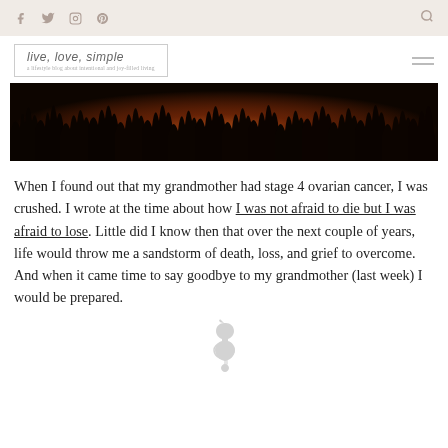Social nav bar with facebook, twitter, instagram, pinterest icons and search icon
[Figure (logo): live. love. simple. blog logo in cursive italic script inside a rectangular border with tagline beneath]
[Figure (photo): Dark panoramic silhouette photo of bare trees against a warm orange-red sunset sky]
When I found out that my grandmother had stage 4 ovarian cancer, I was crushed. I wrote at the time about how I was not afraid to die but I was afraid to lose. Little did I know then that over the next couple of years, life would throw me a sandstorm of death, loss, and grief to overcome. And when it came time to say goodbye to my grandmother (last week) I would be prepared.
[Figure (illustration): Small gray seahorse decorative divider icon]